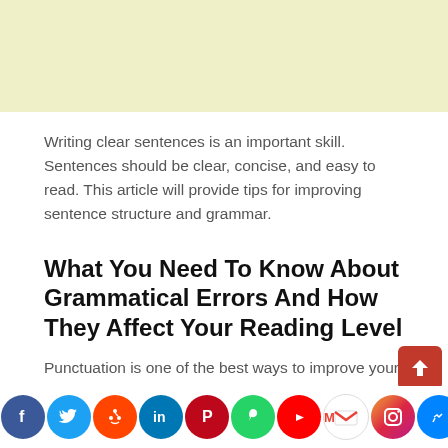[Figure (other): Advertisement banner with light yellow background at the top of the page]
Writing clear sentences is an important skill. Sentences should be clear, concise, and easy to read. This article will provide tips for improving sentence structure and grammar.
What You Need To Know About Grammatical Errors And How They Affect Your Reading Level
Punctuation is one of the best ways to improve your writing, and can also help you understand what a sentence is trying to say. For example, a comma separates two
[Figure (other): Social media sharing icons bar at bottom: Facebook, Twitter, Reddit, LinkedIn, Pinterest, WhatsApp, YouTube, Gmail, Instagram, Messenger, Yahoo]